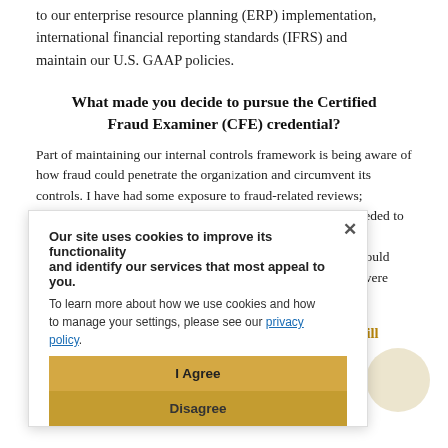to our enterprise resource planning (ERP) implementation, international financial reporting standards (IFRS) and maintain our U.S. GAAP policies.
What made you decide to pursue the Certified Fraud Examiner (CFE) credential?
Part of maintaining our internal controls framework is being aware of how fraud could penetrate the organization and circumvent its controls. I have had some exposure to fraud-related reviews; however, I am not an expert. When my manager told me I needed to be a fraud expert, I immediately thought of the ACFE and its certification. It is well known in our industry and I knew it would give me the tools I needed to ensure my development needs were met.
How do you think earning the CFE credential will benefit you in your role?
It will give me a unique perspective when it comes to